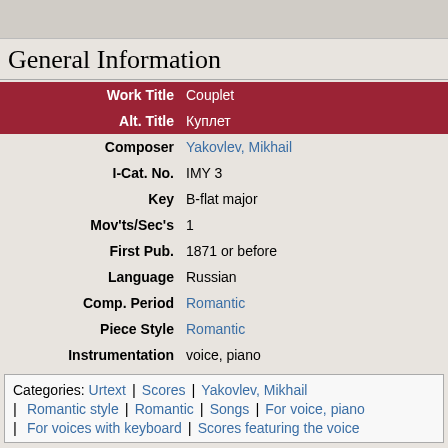[Figure (other): Top image bar, partially visible graphic]
General Information
| Field | Value |
| --- | --- |
| Work Title | Couplet |
| Alt. Title | Куплет |
| Composer | Yakovlev, Mikhail |
| I-Cat. No. | IMY 3 |
| Key | B-flat major |
| Mov'ts/Sec's | 1 |
| First Pub. | 1871 or before |
| Language | Russian |
| Comp. Period | Romantic |
| Piece Style | Romantic |
| Instrumentation | voice, piano |
Categories: Urtext | Scores | Yakovlev, Mikhail | Romantic style | Romantic | Songs | For voice, piano | For voices with keyboard | Scores featuring the voice